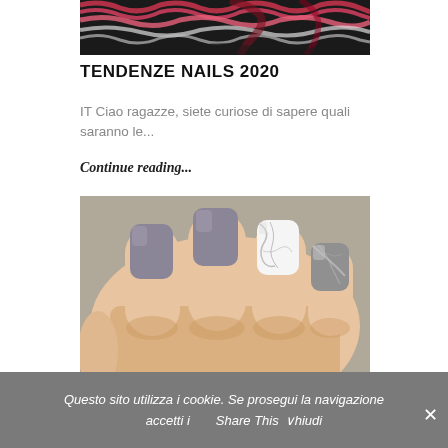[Figure (photo): Cropped top portion of a colorful knit textile in red, black, white, and pink tones.]
TENDENZE NAILS 2020
IT Ciao ragazze, siete curiose di sapere quali saranno le...
Continue reading...
[Figure (photo): Close-up photo of a hand with manicured nails showing grey/taupe polish on most nails, with a white marble-effect nail on the ring finger and a silver metallic nail on the pinky.]
Questo sito utilizza i cookie. Se prosegui la navigazione accetti i